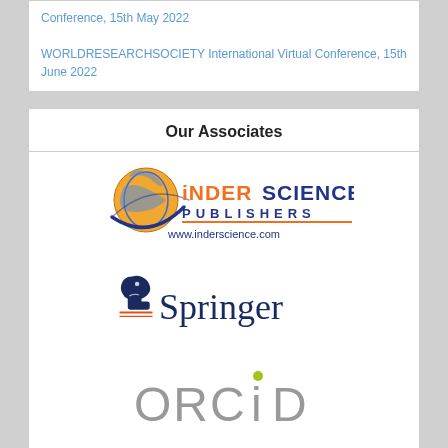Conference, 15th May 2022
WORLDRESEARCHSOCIETY International Virtual Conference, 15th June 2022
Our Associates
[Figure (logo): Inderscience Publishers logo with globe graphic and website www.inderscience.com]
[Figure (logo): Springer publisher logo with chess knight icon]
[Figure (logo): ORCID logo in gray and green]